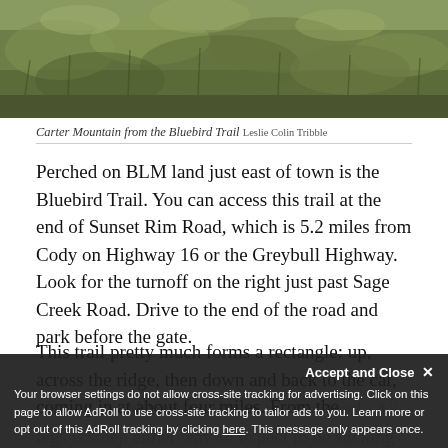[Figure (photo): Landscape photo showing dry grassland and scrubby vegetation on Carter Mountain viewed from the Bluebird Trail]
Carter Mountain from the Bluebird Trail Leslie Colin Tribble
Perched on BLM land just east of town is the Bluebird Trail. You can access this trail at the end of Sunset Rim Road, which is 5.2 miles from Cody on Highway 16 or the Greybull Highway. Look for the turnoff on the right just past Sage Creek Road. Drive to the end of the road and park before the gate.
This trail pretty much forms a rectangle: up, across the ridge, then down and back to the car, coming in at about four miles. From the car you can either turn left up the two-track. All legs is steep either way so expect to be sucking some air